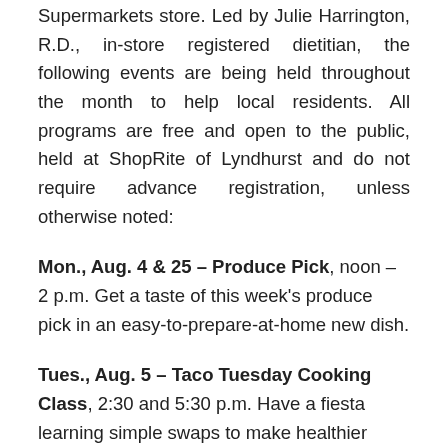Supermarkets store. Led by Julie Harrington, R.D., in-store registered dietitian, the following events are being held throughout the month to help local residents. All programs are free and open to the public, held at ShopRite of Lyndhurst and do not require advance registration, unless otherwise noted:
Mon., Aug. 4 & 25 – Produce Pick, noon – 2 p.m. Get a taste of this week's produce pick in an easy-to-prepare-at-home new dish.
Tues., Aug. 5 – Taco Tuesday Cooking Class, 2:30 and 5:30 p.m. Have a fiesta learning simple swaps to make healthier tacos. Pre-